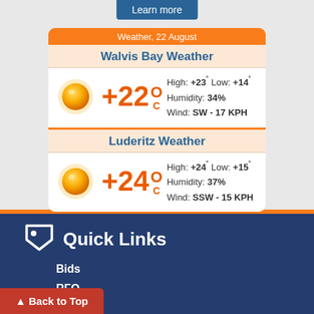Learn more
Weather, 22 August
Walvis Bay Weather
High: +23° Low: +14°
Humidity: 34%
Wind: SW - 17 KPH
Luderitz Weather
High: +24° Low: +15°
Humidity: 37%
Wind: SSW - 15 KPH
Quick Links
Bids
RFQ
Port Log
News
Back to Top